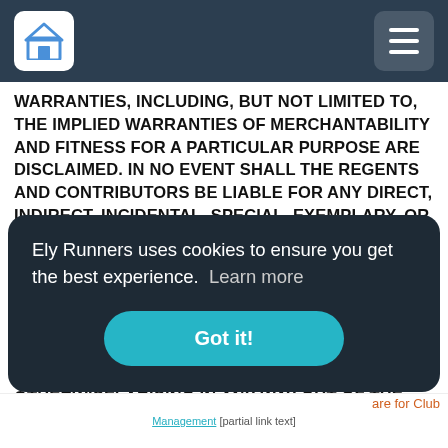Ely Runners - navigation header with home icon and menu icon
WARRANTIES, INCLUDING, BUT NOT LIMITED TO, THE IMPLIED WARRANTIES OF MERCHANTABILITY AND FITNESS FOR A PARTICULAR PURPOSE ARE DISCLAIMED. IN NO EVENT SHALL THE REGENTS AND CONTRIBUTORS BE LIABLE FOR ANY DIRECT, INDIRECT, INCIDENTAL, SPECIAL, EXEMPLARY, OR CONSEQUENTIAL DAMAGES (INCLUDING, BUT NOT LIMITED TO, PROCUREMENT OF SUBSTITUTE GOODS OR SERVICES; LOSS OF USE, DATA, OR PROFITS; OR BUSINESS INTERRUPTION) HOWEVER CAUSED AND ON ANY THEORY OF LIABILITY, WHETHER IN CONTRACT, STRICT LIABILITY, OR TORT (INCLUDING NEGLIGENCE OR OTHERWISE) ARISING IN ANY WAY OUT OF THE USE OF THIS SOFTWARE, EVEN IF ADVISED OF THE POSSIBILITY OF SUCH
Ely Runners uses cookies to ensure you get the best experience.  Learn more
Got it!
Open Source
how we use
are for Club
Management [partial link text]